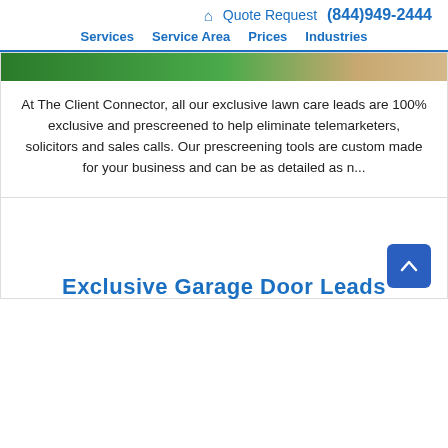🏠 Quote Request (844)949-2444 Services Service Area Prices Industries
[Figure (photo): Green lawn/trees with sandy/tan area on the right — partial crop of outdoor lawn care image]
At The Client Connector, all our exclusive lawn care leads are 100% exclusive and prescreened to help eliminate telemarketers, solicitors and sales calls. Our prescreening tools are custom made for your business and can be as detailed as n...
Exclusive Garage Door Leads